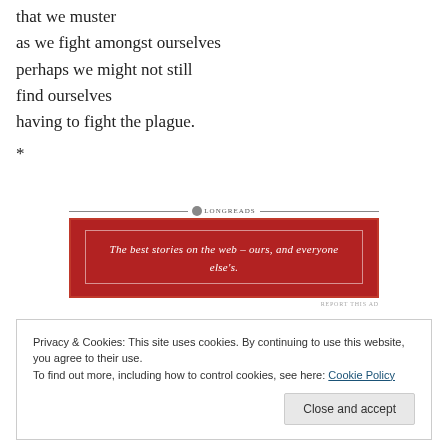that we muster
as we fight amongst ourselves
perhaps we might not still
find ourselves
having to fight the plague.
*
[Figure (other): Longreads advertisement banner: red background with white inner border, text reads 'The best stories on the web – ours, and everyone else's.' with Longreads logo at top.]
Privacy & Cookies: This site uses cookies. By continuing to use this website, you agree to their use.
To find out more, including how to control cookies, see here: Cookie Policy